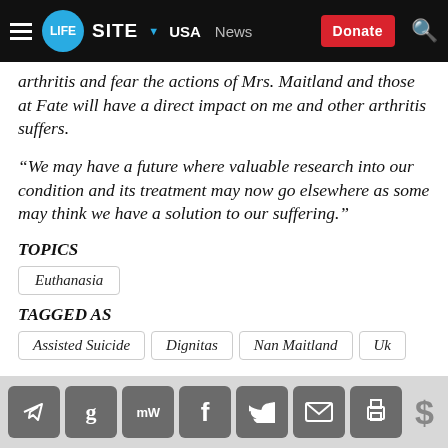LIFESITE | USA | News | Donate
arthritis and fear the actions of Mrs. Maitland and those at Fate will have a direct impact on me and other arthritis suffers.
“We may have a future where valuable research into our condition and its treatment may now go elsewhere as some may think we have a solution to our suffering.”
TOPICS
Euthanasia
TAGGED AS
Assisted Suicide
Dignitas
Nan Maitland
Uk
Share icons: Telegram, Gab, MeWe, Facebook, Twitter, Email, Print, Donate